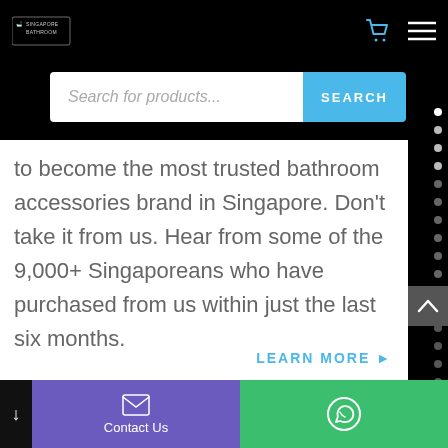Singapore Bathroom — navigation bar with logo, cart, and menu icons
Search for products...
to become the most trusted bathroom accessories brand in Singapore. Don't take it from us. Hear from some of the 9,000+ Singaporeans who have purchased from us within just the last six months.
LEARN MORE ▶
Contact Us | WhatsApp